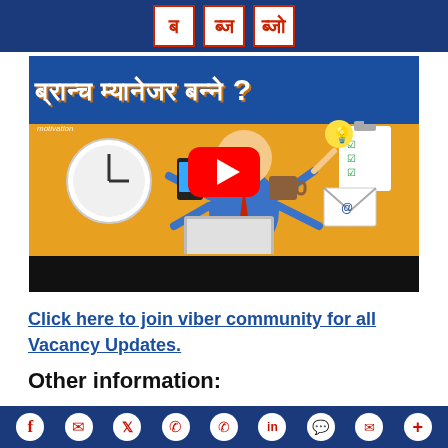ब   ब्ज   ब्जो
[Figure (screenshot): YouTube video thumbnail showing a Nepali-language video titled 'ब्रान्च म्यानेजर बन्ने ?' with a cartoon multi-tasking businessman, a YouTube play button overlay, on an orange/blue background. Labeled 'motivation' in top-left corner.]
Click here to join viber community for all Vacancy Updates.
Other information:
Social share icons: Facebook, Messenger, Twitter, WhatsApp, Phone, LinkedIn, Chat, Email, More